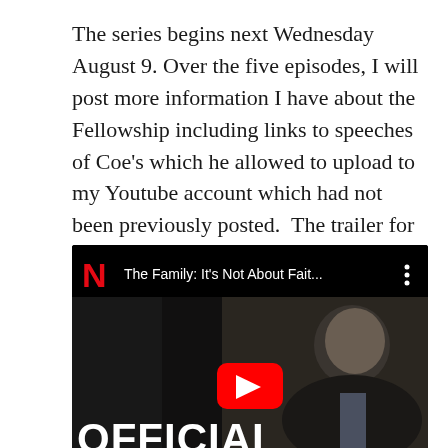The series begins next Wednesday August 9. Over the five episodes, I will post more information I have about the Fellowship including links to speeches of Coe’s which he allowed to upload to my Youtube account which had not been previously posted.  The trailer for the series is below.
[Figure (screenshot): YouTube video embed showing a Netflix video titled 'The Family: It’s Not About Fait...' with a Netflix logo (red N and NETFLIX text), a YouTube play button in the center, a man in a dark suit visible on the right side, and 'OFFICIAL' text at the bottom. Black top bar with video title.]